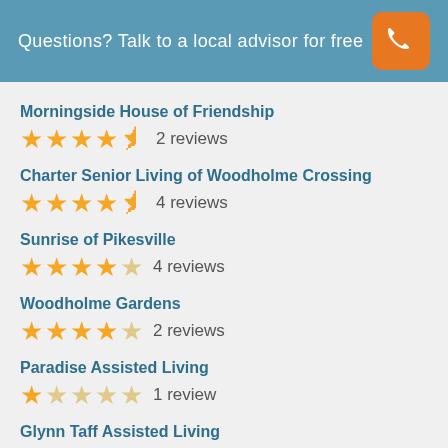Questions? Talk to a local advisor for free
Morningside House of Friendship — ★★★★½ — 2 reviews
Charter Senior Living of Woodholme Crossing — ★★★★½ — 4 reviews
Sunrise of Pikesville — ★★★★☆ — 4 reviews
Woodholme Gardens — ★★★★☆ — 2 reviews
Paradise Assisted Living — ★☆☆☆☆ — 1 review
Glynn Taff Assisted Living
Inspirations Assisted Living & Memory Care